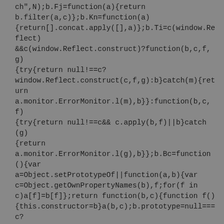ch",N);b.Fj=function(a){return b.filter(a,c)};b.Kn=function(a){return[].concat.apply([],a)};b.Ti=c(window.Reflect)&&c(window.Reflect.construct)?function(b,c,f,g){try{return null!==c?window.Reflect.construct(c,f,g):b}catch(m){return a.monitor.ErrorMonitor.l(m),b}}:function(b,c,f){try{return null!==c&& c.apply(b,f)||b}catch(g){return a.monitor.ErrorMonitor.l(g),b}};b.Bc=function(){var a=Object.setPrototypeOf||function(a,b){var c=Object.getOwnPropertyNames(b),f;for(f in c)a[f]=b[f]};return function(b,c){function f(){this.constructor=b}a(b,c);b.prototype=null===c?Object.create(c):(f.prototype=c.prototype,new f)}}();b.Oj=function(a){if(!b.isString(a))return a;var c={"&":"&","<":"<",">":">","\"":"\"","'":"'","/":"/"};return a.replace(/[&<>'"]/g,function(a){return c[a]})};b.Bo= function(a){if(!b.isString(a))return a;var c={"&":"&","&":"&","&":"&","<":"<","<":"<","<":" <",">">">",">">">",">">">"}...